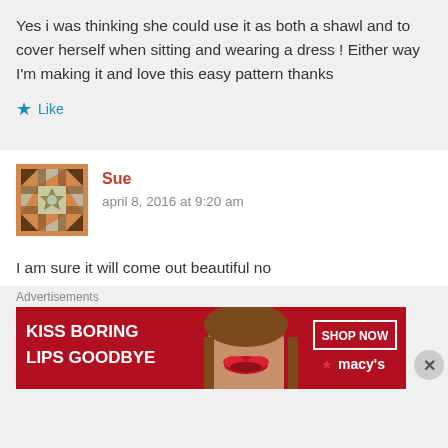Yes i was thinking she could use it as both a shawl and to cover herself when sitting and wearing a dress ! Either way I'm making it and love this easy pattern thanks
Like
[Figure (illustration): Quilted avatar icon with orange border and geometric pattern]
Sue
april 8, 2016 at 9:20 am
I am sure it will come out beautiful no
Advertisements
[Figure (infographic): Macy's advertisement banner: KISS BORING LIPS GOODBYE with a model's face, SHOP NOW button and macy's logo with star]